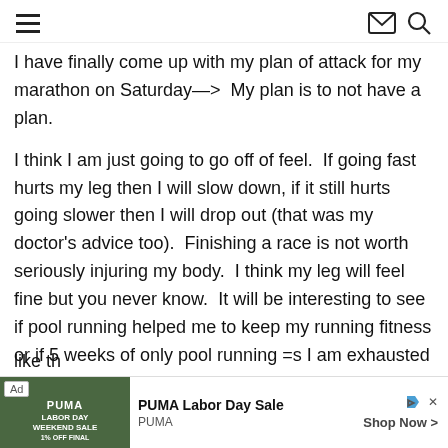[hamburger menu] [mail icon] [search icon]
I have finally come up with my plan of attack for my marathon on Saturday—>  My plan is to not have a plan.
I think I am just going to go off of feel.  If going fast hurts my leg then I will slow down, if it still hurts going slower then I will drop out (that was my doctor's advice too).  Finishing a race is not worth seriously injuring my body.  I think my leg will feel fine but you never know.  It will be interesting to see if pool running helped me to keep my running fitness or if 5 weeks of only pool running =s I am exhausted by mile 10 and my lungs feel like th
[Figure (other): Advertisement banner for PUMA Labor Day Sale showing a green-background ad image with PUMA branding, 'Ad' badge, title 'PUMA Labor Day Sale', brand 'PUMA', and 'Shop Now >' button with close controls]